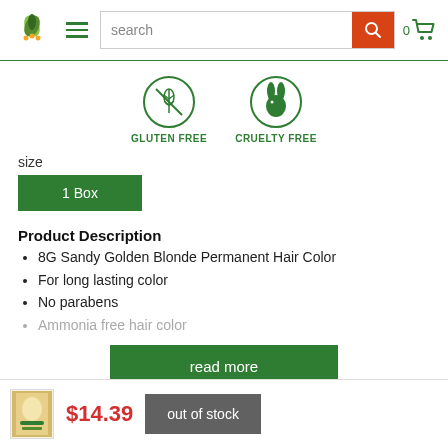[Figure (screenshot): E-commerce website header with green leaf logo, hamburger menu, search bar with orange search button, and green cart icon showing 0 items]
[Figure (infographic): Two green circular certification badges: GLUTEN FREE (wheat/grain icon with strikethrough) and CRUELTY FREE (rabbit icon)]
size
1 Box
Product Description
8G Sandy Golden Blonde Permanent Hair Color
For long lasting color
No parabens
Ammonia free hair color
read more
$14.39
out of stock